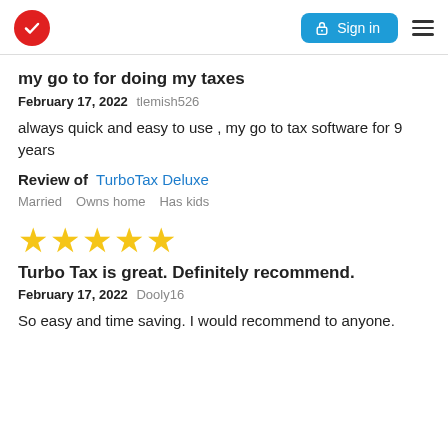TurboTax logo | Sign in | Menu
my go to for doing my taxes
February 17, 2022 tlemish526
always quick and easy to use , my go to tax software for 9 years
Review of TurboTax Deluxe
Married   Owns home   Has kids
[Figure (other): 5 gold star rating icons]
Turbo Tax is great. Definitely recommend.
February 17, 2022 Dooly16
So easy and time saving. I would recommend to anyone.